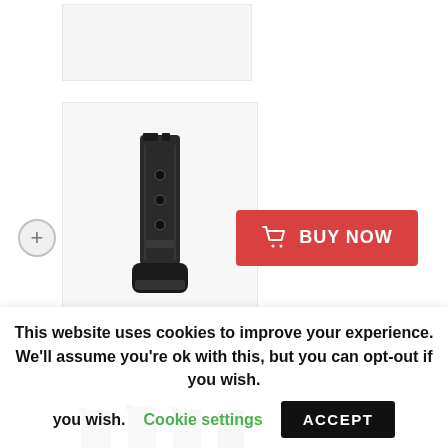[Figure (photo): Partial view of product image box at top, cropped]
[Figure (photo): Gun magazine with extended base pad shown on white background in a product listing]
[Figure (other): Red Buy Now button with shopping cart icon]
[Figure (photo): Partial view of bottom product listing showing multiple black magazines]
This website uses cookies to improve your experience. We'll assume you're ok with this, but you can opt-out if you wish. Cookie settings ACCEPT